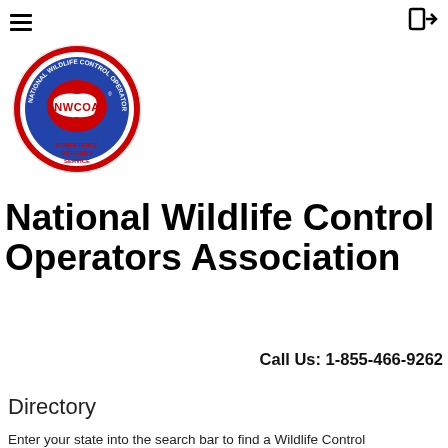≡  ➡
[Figure (logo): NWCOA circular logo — National Wildlife Control Operators Association badge with blue background, red center showing NWCOA text and US map outline, red ring with white text, tagline COMPETENCE INTEGRITY SERVICE]
National Wildlife Control Operators Association
Call Us: 1-855-466-9262
Directory
Enter your state into the search bar to find a Wildlife Control